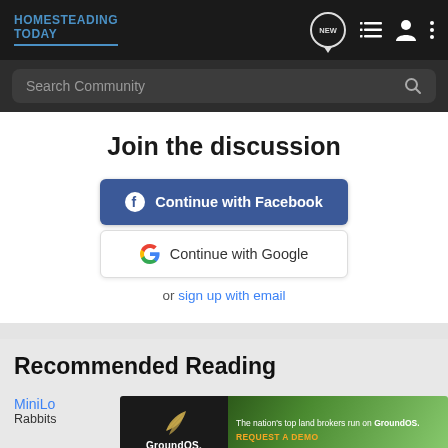HOMESTEADING TODAY
Search Community
Join the discussion
Continue with Facebook
Continue with Google
or sign up with email
Recommended Reading
MiniLo
Rabbits
[Figure (infographic): GroundOS advertisement banner: 'The nation's top land brokers run on GroundOS. REQUEST A DEMO' with aerial image of farmland.]